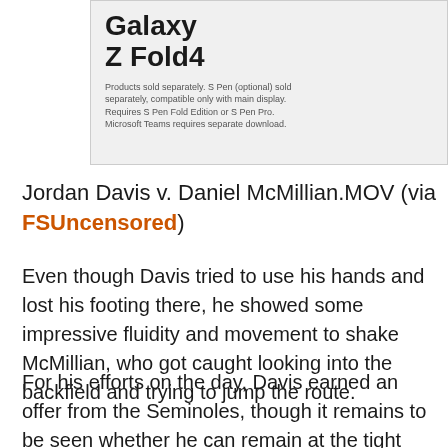[Figure (screenshot): Samsung Galaxy Z Fold4 advertisement showing product name and fine print about S Pen and Microsoft Teams]
Jordan Davis v. Daniel McMillian.MOV (via FSUncensored)
Even though Davis tried to use his hands and lost his footing there, he showed some impressive fluidity and movement to shake McMillian, who got caught looking into the backfield and trying to jump the route.
For his efforts on the day, Davis earned an offer from the Seminoles, though it remains to be seen whether he can remain at the tight end position or if he will grow into an offensive tackle. Most tight ends who are around 15 years old who weight 250 pounds end up